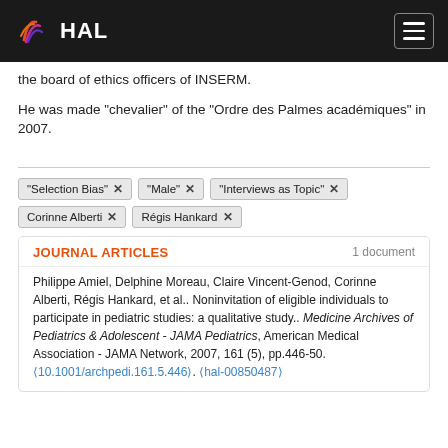HAL
the board of ethics officers of INSERM.
He was made "chevalier" of the "Ordre des Palmes académiques" in 2007.
"Selection Bias" ×
"Male" ×
"Interviews as Topic" ×
Corinne Alberti ×
Régis Hankard ×
JOURNAL ARTICLES
1 document
Philippe Amiel, Delphine Moreau, Claire Vincent-Genod, Corinne Alberti, Régis Hankard, et al.. Noninvitation of eligible individuals to participate in pediatric studies: a qualitative study.. Medicine Archives of Pediatrics & Adolescent - JAMA Pediatrics, American Medical Association - JAMA Network, 2007, 161 (5), pp.446-50. ⟨10.1001/archpedi.161.5.446⟩. ⟨hal-00850487⟩